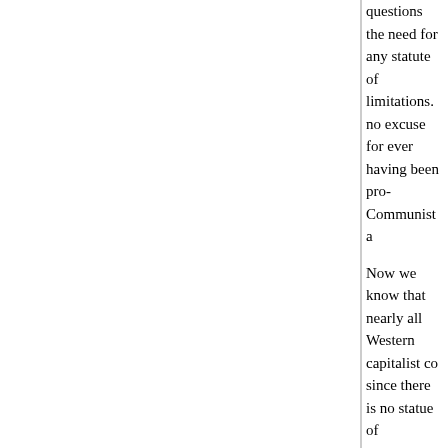questions the need for any statute of limitations. no excuse for ever having been pro-Communist a
Now we know that nearly all Western capitalist co since there is no statue of limitations, the only que cutoff for when there was no excuse for being pro
Of course conservatives would consider this line dissonance is useful, it keeps you from ever havin
Posted by: felixrayman | December 30, 2004 at 12:37 PM
von: "Rilkefan's unfair snark aside"
Under the assumption you didn't understand my b my view the post does not say what it ought to ("S principled proponent of liberal interventionism; I d blah but praise her courage in her convictions; co her agreement with us on foo and emulate her pa world"). Instead, the thrust is more "Sontag used recently she held positions which are close enoug we should appreciate how far she's come from th that, and the other despicable positions." I think T skewed" is a good example of what I mean. Or so standards is a shill for imperialistic, war-profitee